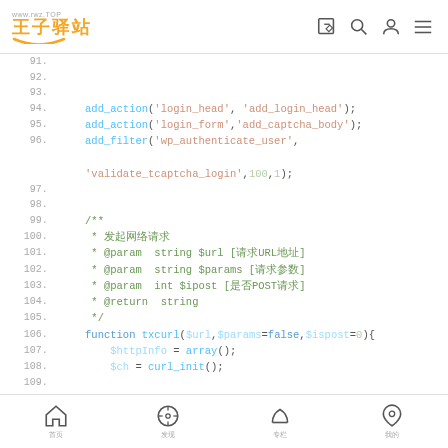www.rwz.TOP 王子驿站 navigation bar
[Figure (screenshot): Code editor screenshot showing PHP code lines 91-110 with syntax highlighting. Lines include add_action, add_filter calls and a txcurl function definition with curl operations.]
Bottom navigation bar with home, compass, crown, and profile icons